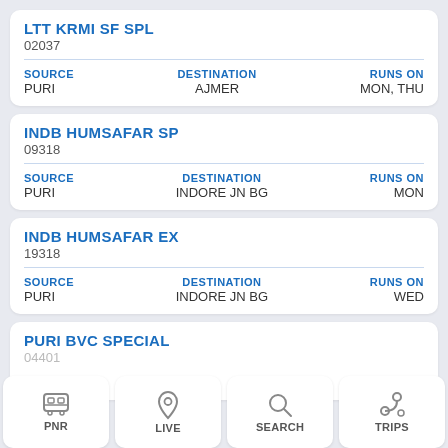LTT KRMI SF SPL
02037
| SOURCE | DESTINATION | RUNS ON |
| --- | --- | --- |
| PURI | AJMER | MON, THU |
INDB HUMSAFAR SP
09318
| SOURCE | DESTINATION | RUNS ON |
| --- | --- | --- |
| PURI | INDORE JN BG | MON |
INDB HUMSAFAR EX
19318
| SOURCE | DESTINATION | RUNS ON |
| --- | --- | --- |
| PURI | INDORE JN BG | WED |
PURI BVC SPECIAL
PNR | LIVE | SEARCH | TRIPS